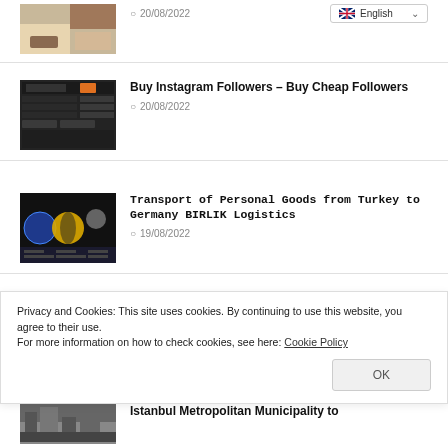[Figure (photo): Thumbnail of interior/furniture photo with date 20/08/2022 and English language selector]
20/08/2022
[Figure (screenshot): Thumbnail of dark website screenshot]
Buy Instagram Followers – Buy Cheap Followers
20/08/2022
[Figure (screenshot): Thumbnail of dark presentation slide with globe images]
Transport of Personal Goods from Turkey to Germany BIRLIK Logistics
19/08/2022
JOBS
Privacy and Cookies: This site uses cookies. By continuing to use this website, you agree to their use.
For more information on how to check cookies, see here: Cookie Policy
[Figure (photo): Thumbnail of city/municipality photo]
Istanbul Metropolitan Municipality to